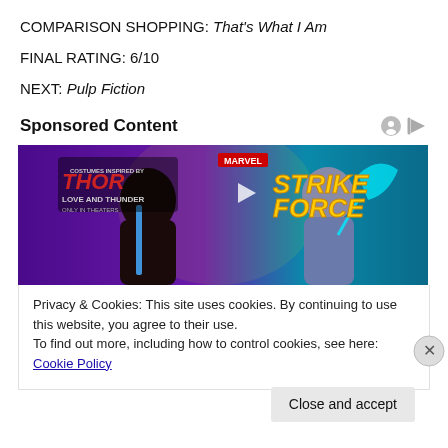COMPARISON SHOPPING: That's What I Am
FINAL RATING: 6/10
NEXT: Pulp Fiction
Sponsored Content
[Figure (illustration): Advertisement banner for Marvel Strike Force game featuring animated characters from Thor: Love and Thunder, two female characters in action poses against a purple and teal background]
Privacy & Cookies: This site uses cookies. By continuing to use this website, you agree to their use.
To find out more, including how to control cookies, see here: Cookie Policy